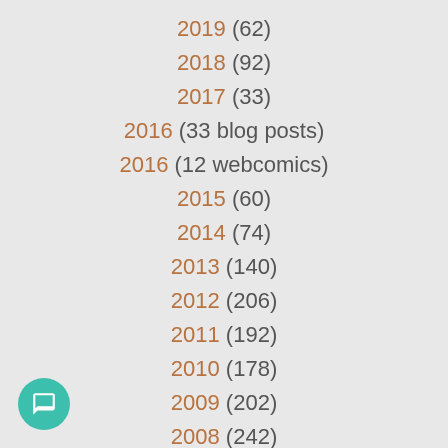2019 (62)
2018 (92)
2017 (33)
2016 (33 blog posts)
2016 (12 webcomics)
2015 (60)
2014 (74)
2013 (140)
2012 (206)
2011 (192)
2010 (178)
2009 (202)
2008 (242)
2007 (278)